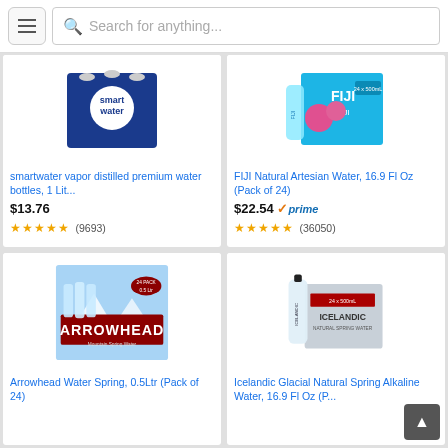[Figure (screenshot): Mobile shopping app search bar with hamburger menu icon and search field showing 'Search for anything...']
[Figure (photo): Smartwater vapor distilled premium water bottles product image]
smartwater vapor distilled premium water bottles, 1 Lit...
$13.76
★★★★★ (9693)
[Figure (photo): FIJI Natural Artesian Water 16.9 Fl Oz Pack of 24 product image]
FIJI Natural Artesian Water, 16.9 Fl Oz (Pack of 24)
$22.54 ✓prime
★★★★★ (36050)
[Figure (photo): Arrowhead Water Spring 0.5Ltr Pack of 24 product image]
Arrowhead Water Spring, 0.5Ltr (Pack of 24)
[Figure (photo): Icelandic Glacial Natural Spring Alkaline Water 16.9 Fl Oz product image]
Icelandic Glacial Natural Spring Alkaline Water, 16.9 Fl Oz (P...